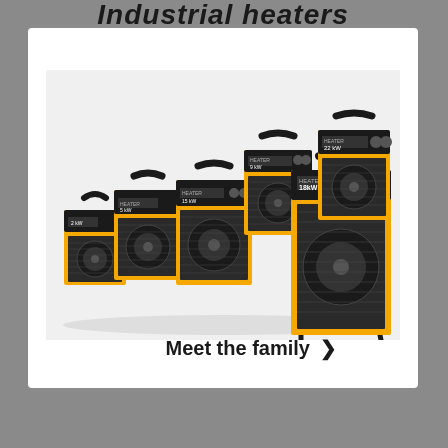Industrial heaters
[Figure (photo): Group of five yellow industrial electric fan heaters of different sizes (2 kW, 5 kW, 9 kW, 15 kW, 18 kW, 22 kW) arranged together, all with black grilles, handles and controls, branded HEATER]
Meet the family >